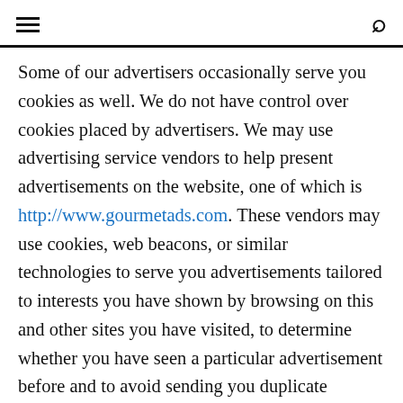☰  🔍
Some of our advertisers occasionally serve you cookies as well. We do not have control over cookies placed by advertisers. We may use advertising service vendors to help present advertisements on the website, one of which is http://www.gourmetads.com. These vendors may use cookies, web beacons, or similar technologies to serve you advertisements tailored to interests you have shown by browsing on this and other sites you have visited, to determine whether you have seen a particular advertisement before and to avoid sending you duplicate advertisements. In doing so, these vendors may collect non-personal data such